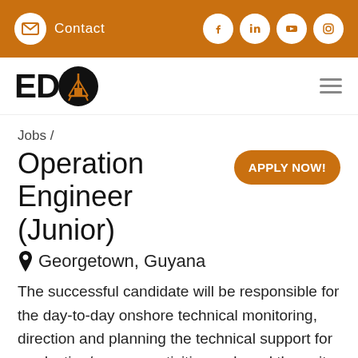Contact
[Figure (logo): EDO company logo with oil rig icon inside letter O]
Jobs /
Operation Engineer (Junior)
Georgetown, Guyana
The successful candidate will be responsible for the day-to-day onshore technical monitoring, direction and planning the technical support for production/process activities on board the unit. He / she will be required to coordinate efficiently between the asset group, the